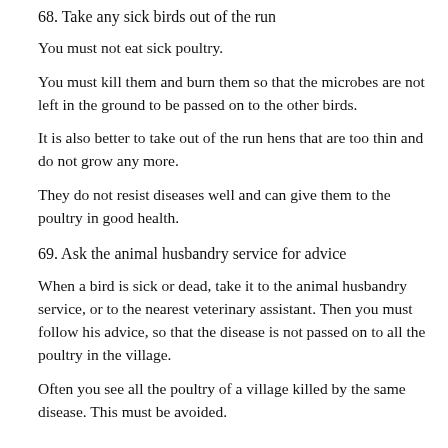68. Take any sick birds out of the run
You must not eat sick poultry.
You must kill them and burn them so that the microbes are not left in the ground to be passed on to the other birds.
It is also better to take out of the run hens that are too thin and do not grow any more.
They do not resist diseases well and can give them to the poultry in good health.
69. Ask the animal husbandry service for advice
When a bird is sick or dead, take it to the animal husbandry service, or to the nearest veterinary assistant. Then you must follow his advice, so that the disease is not passed on to all the poultry in the village.
Often you see all the poultry of a village killed by the same disease. This must be avoided.